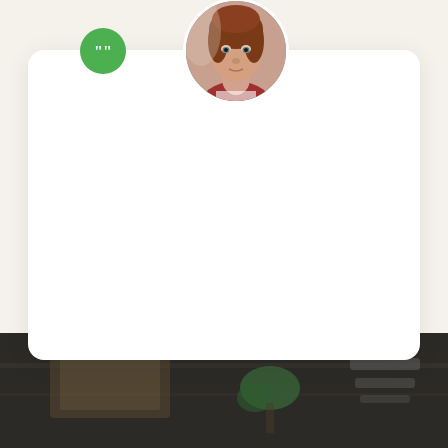[Figure (photo): Circular avatar photo of a young woman with auburn hair against a light background]
Eleifend varius enim, eget lorem euismod amet, integer adipiscing volutpat sit sed nunc morbi nunc eget aenean eu amet maecenas lectus potenti fermentum, ac ac proin id et egestas iaculis imperdiet justo.
Margaret Suzanne
[Figure (photo): Dark background photo of a cafe/restaurant interior with shelving and signage]